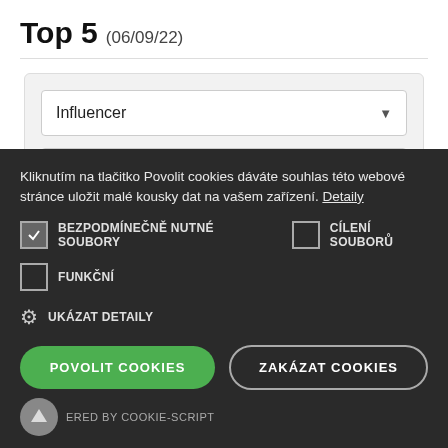Top 5 (06/09/22)
[Figure (screenshot): Dropdown filter UI with 'Influencer' and 'Odvětví (Všechny)' dropdowns and a partial third dropdown]
Kliknutím na tlačitko Povolit cookies dáváte souhlas této webové stránce uložit malé kousky dat na vašem zařízení. Detaily
BEZPODMÍNEČNĚ NUTNÉ SOUBORY (checked)
CÍLENÍ SOUBORŮ (unchecked)
FUNKČNÍ (unchecked)
UKÁZAT DETAILY
POVOLIT COOKIES
ZAKÁZAT COOKIES
ERED BY COOKIE-SCRIPT